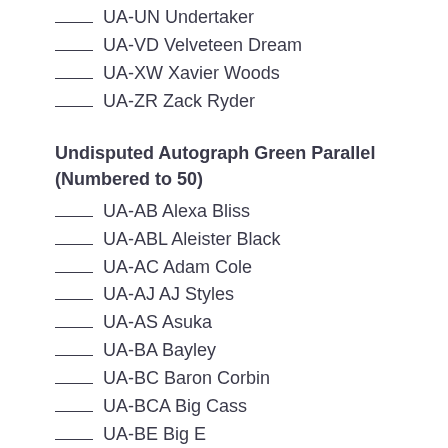___ UA-UN Undertaker
___ UA-VD Velveteen Dream
___ UA-XW Xavier Woods
___ UA-ZR Zack Ryder
Undisputed Autograph Green Parallel (Numbered to 50)
___ UA-AB Alexa Bliss
___ UA-ABL Aleister Black
___ UA-AC Adam Cole
___ UA-AJ AJ Styles
___ UA-AS Asuka
___ UA-BA Bayley
___ UA-BC Baron Corbin
___ UA-BCA Big Cass
___ UA-BE Big E